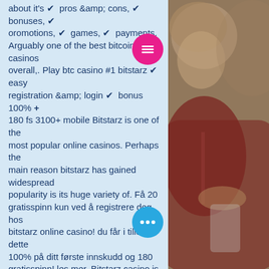about it's ✔ pros &amp; cons, ✔ bonuses, ✔ oromotions, ✔ games, ✔ payments. Arguably one of the best bitcoin casinos overall,. Play btc casino #1 bitstarz ✔ easy registration &amp; login ✔ bonus 100% + 180 fs 3100+ mobile Bitstarz is one of the most popular online casinos. Perhaps the main reason bitstarz has gained widespread popularity is its huge variety of. Få 20 gratisspinn kun ved å registrere deg hos bitstarz online casino! du får i tilleg til dette 100% på ditt første innskudd og 180 gratisspinn! les mer. Bitstarz casino is among the fastest paying online casinos with a robust customer support. They have instant-play games and a mobile friendly casino. Bitstarz casino has a top choice of games ✔ fast cashout ✔ no deposit free spins ✔ accepts bitcoin &amp; other c + usd, eur or cad → full bitstarz. Bitsta established in 2014 by the direx n. It is
[Figure (photo): A child looking down at a smartphone, with blurred background. The child has curly blonde hair and is wearing a red jacket.]